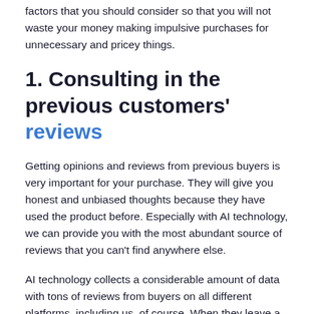factors that you should consider so that you will not waste your money making impulsive purchases for unnecessary and pricey things.
1. Consulting in the previous customers' reviews
Getting opinions and reviews from previous buyers is very important for your purchase. They will give you honest and unbiased thoughts because they have used the product before. Especially with AI technology, we can provide you with the most abundant source of reviews that you can't find anywhere else.
AI technology collects a considerable amount of data with tons of reviews from buyers on all different platforms, including us, of course. When they leave a comment about the product, their comment will be saved and open to everyone who